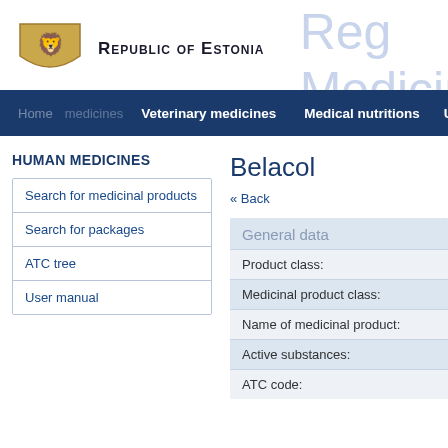[Figure (logo): Republic of Estonia coat of arms logo with golden lion on shield]
Republic of Estonia
Register of Medicinal
Veterinary medicines   Medical nutritions   User   L
HUMAN MEDICINES
Search for medicinal products
Search for packages
ATC tree
User manual
Belacol
« Back
General data
Product class:
Medicinal product class:
Name of medicinal product:
Active substances:
ATC code: